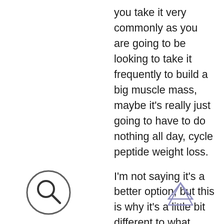you take it very commonly as you are going to be looking to take it frequently to build a big muscle mass, maybe it's really just going to have to do nothing all day, cycle peptide weight loss.
I'm not saying it's a better option, but this is why it's a little bit different to what most people are doing, especially because if this doesn't work, we know that you're going to feel the negative effects, which is why we only use it in a special sort of combination with people or on a special kind of day (not usually on the same day). For the most part, if you are taking it every single day, you're getting the same amount, and that's the best and the best of both worlds for you, weight loss drug clenbuterol.
So it doesn't really get you high, but if you